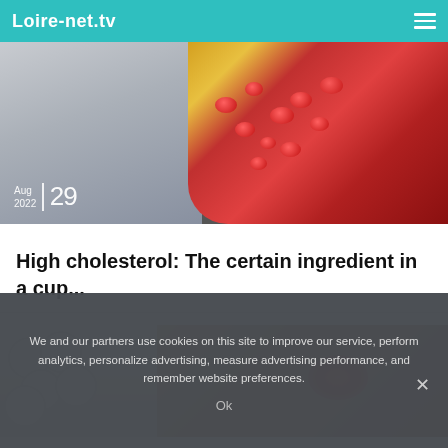Loire-net.tv
[Figure (photo): Medical composite image: person holding a cup on the left, medical illustration of a blood vessel with red blood cells on the right. Date overlay reads Aug 2022 | 29.]
High cholesterol: The certain ingredient in a cup...
[Figure (photo): Composite image: white cylindrical tablets/pills on the left, a hand showing redness/inflammation on the right.]
We and our partners use cookies on this site to improve our service, perform analytics, personalize advertising, measure advertising performance, and remember website preferences.
Ok